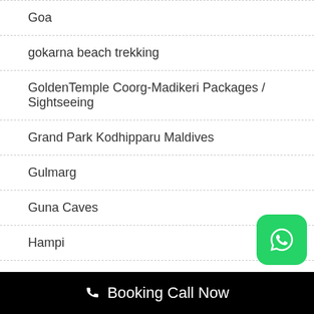Goa
gokarna beach trekking
GoldenTemple Coorg-Madikeri Packages / Sightseeing
Grand Park Kodhipparu Maldives
Gulmarg
Guna Caves
Hampi
Har Ki Dun Trek
📞 Booking Call Now